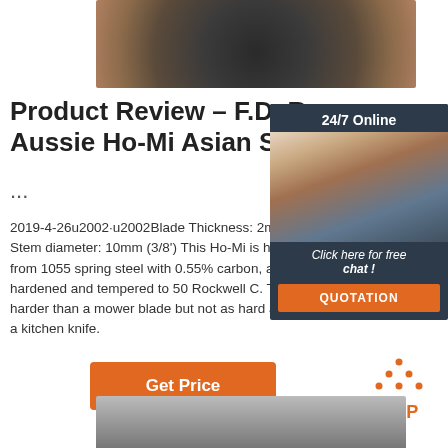[Figure (photo): Close-up photo of a circular metal grinding wheel or tool, viewed from above, showing worn dark metal surface with ring patterns.]
Product Review – F.D. Rya... Aussie Ho-Mi Asian Style H...
...
2019-4-26u2002·u2002Blade Thickness: 2mm... Stem diameter: 10mm (3/8') This Ho-Mi is han... from 1055 spring steel with 0.55% carbon, and... hardened and tempered to 50 Rockwell C. Thi... harder than a mower blade but not as hard an... a kitchen knife.
[Figure (infographic): Live chat widget showing '24/7 Online' header, photo of a female customer service representative wearing a headset, 'Click here for free chat!' text, and orange QUOTATION button. Dark navy blue background.]
Get Price
[Figure (logo): Orange 'TOP' icon with upward-pointing chevron/triangle dots above the text, in orange color.]
[Figure (photo): Partial photo of metallic industrial machinery or equipment, showing silver/grey metal surfaces.]